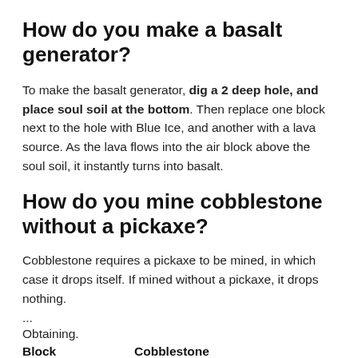How do you make a basalt generator?
To make the basalt generator, dig a 2 deep hole, and place soul soil at the bottom. Then replace one block next to the hole with Blue Ice, and another with a lava source. As the lava flows into the air block above the soul soil, it instantly turns into basalt.
How do you mine cobblestone without a pickaxe?
Cobblestone requires a pickaxe to be mined, in which case it drops itself. If mined without a pickaxe, it drops nothing.
...
Obtaining.
| Block | Cobblestone |
| --- | --- |